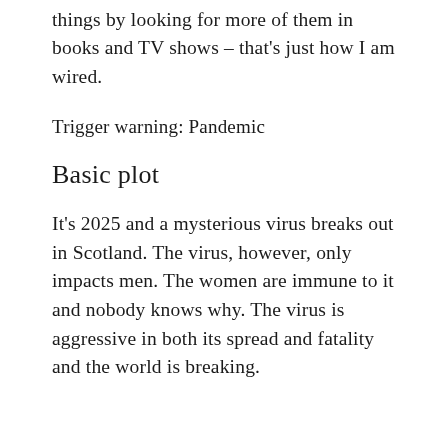things by looking for more of them in books and TV shows – that's just how I am wired.
Trigger warning: Pandemic
Basic plot
It's 2025 and a mysterious virus breaks out in Scotland. The virus, however, only impacts men. The women are immune to it and nobody knows why. The virus is aggressive in both its spread and fatality and the world is breaking.